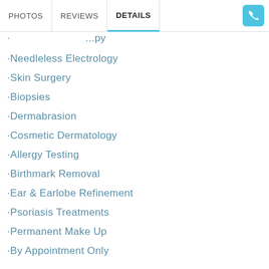PHOTOS | REVIEWS | DETAILS
Needleless Electrology
Skin Surgery
Biopsies
Dermabrasion
Cosmetic Dermatology
Allergy Testing
Birthmark Removal
Ear & Earlobe Refinement
Psoriasis Treatments
Permanent Make Up
By Appointment Only
Sclerotherapy
Mesotherapy
Collagen Injections
Ultraviolet Therapy